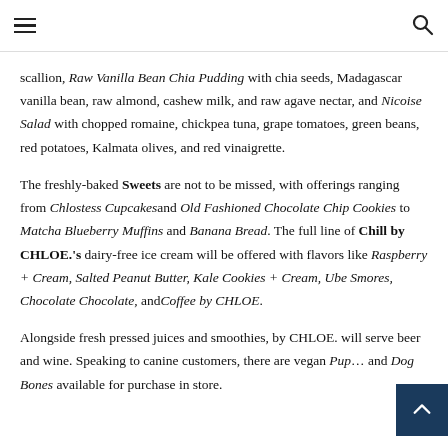Menu navigation header with hamburger menu and search icon
scallion, Raw Vanilla Bean Chia Pudding with chia seeds, Madagascar vanilla bean, raw almond, cashew milk, and raw agave nectar, and Nicoise Salad with chopped romaine, chickpea tuna, grape tomatoes, green beans, red potatoes, Kalmata olives, and red vinaigrette.
The freshly-baked Sweets are not to be missed, with offerings ranging from Chlostess Cupcakesand Old Fashioned Chocolate Chip Cookies to Matcha Blueberry Muffins and Banana Bread. The full line of Chill by CHLOE.'s dairy-free ice cream will be offered with flavors like Raspberry + Cream, Salted Peanut Butter, Kale Cookies + Cream, Ube Smores, Chocolate Chocolate, andCoffee by CHLOE.
Alongside fresh pressed juices and smoothies, by CHLOE. will serve beer and wine. Speaking to canine customers, there are vegan Pup… and Dog Bones available for purchase in store.